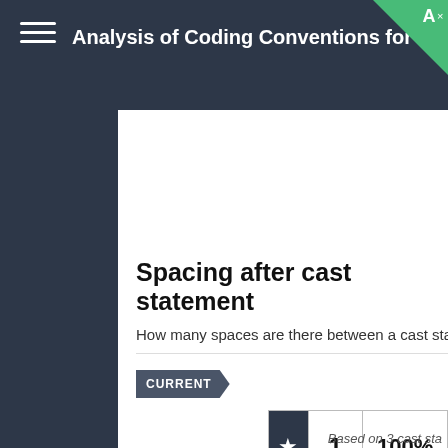Analysis of Coding Conventions for Aura
[Figure (continuous-plot): Time series chart showing percentage over time from 2015 to 2016, with x-axis labels: 0%, 2015, M, M, J, S, N, 2016, M]
Spacing after cast statement
How many spaces are there between a cast statem
CURRENT
| ★ | 1 | 100% |
| --- | --- | --- |
Based on 3 cast sta